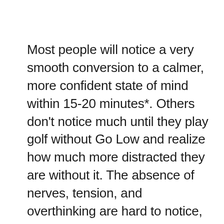Most people will notice a very smooth conversion to a calmer, more confident state of mind within 15-20 minutes*. Others don't notice much until they play golf without Go Low and realize how much more distracted they are without it. The absence of nerves, tension, and overthinking are hard to notice, so sometimes people don't realize how effortless things feel until they are in the same situation without Go Low*.